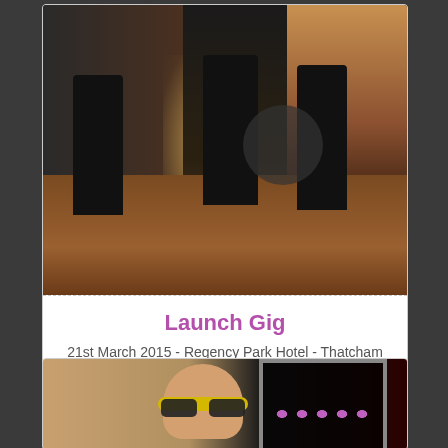[Figure (photo): Band performing on stage in a warm-lit venue with dark silhouettes of musicians against orange/brown background]
Launch Gig
21st March 2015 - Regency Park Hotel - Thatcham
[Figure (photo): Man wearing yellow sunglasses standing in front of a door/entrance with disco lights visible behind him]